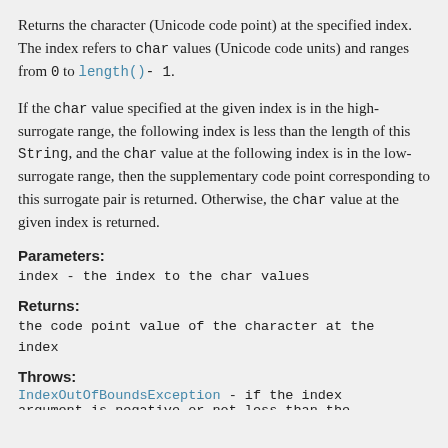Returns the character (Unicode code point) at the specified index. The index refers to char values (Unicode code units) and ranges from 0 to length()- 1.
If the char value specified at the given index is in the high-surrogate range, the following index is less than the length of this String, and the char value at the following index is in the low-surrogate range, then the supplementary code point corresponding to this surrogate pair is returned. Otherwise, the char value at the given index is returned.
Parameters:
index - the index to the char values
Returns:
the code point value of the character at the index
Throws:
IndexOutOfBoundsException - if the index argument is negative or not less than the